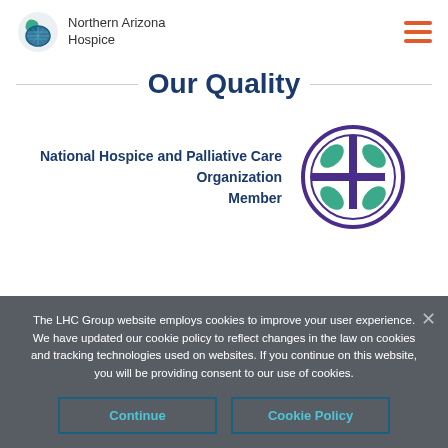Northern Arizona Hospice
Our Quality
[Figure (logo): National Hospice and Palliative Care Organization Member logo with teal leaf cross emblem in purple circle]
The LHC Group website employs cookies to improve your user experience. We have updated our cookie policy to reflect changes in the law on cookies and tracking technologies used on websites. If you continue on this website, you will be providing consent to our use of cookies.
Continue | Cookie Policy